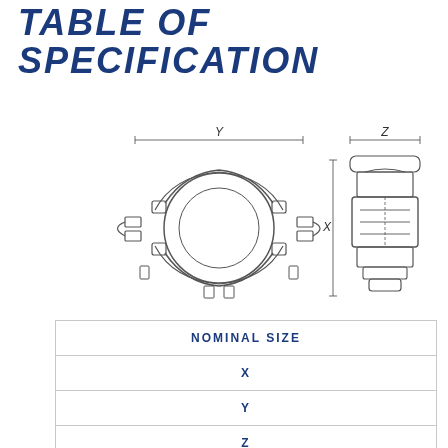TABLE OF SPECIFICATION
[Figure (engineering-diagram): Technical drawing of a pipe clamp/coupling shown in two views: front view (left) showing circular clamp with bolts and flanges labeled Y for width, and side view (right) showing depth profile labeled Z for width and X for height. Dimension lines indicated with arrows.]
| NOMINAL SIZE | X | Y | Z | APRX WEIGHT |
| --- | --- | --- | --- | --- |